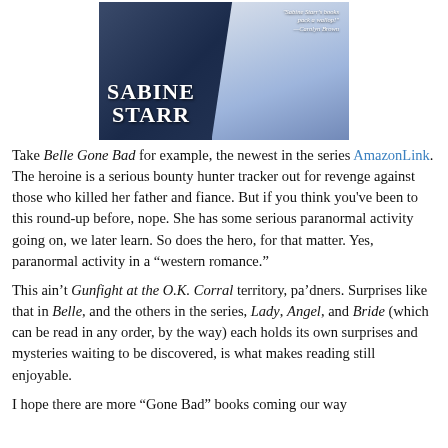[Figure (photo): Book cover showing 'Sabine Starr' author name in large white text over a blue/white lacy dress image, with blurb 'Sabine Starr's books pack a wallop! —Carolyn Brown' at top right]
Take Belle Gone Bad for example, the newest in the series AmazonLink. The heroine is a serious bounty hunter tracker out for revenge against those who killed her father and fiance. But if you think you've been to this round-up before, nope. She has some serious paranormal activity going on, we later learn. So does the hero, for that matter. Yes, paranormal activity in a “western romance.”
This ain’t Gunfight at the O.K. Corral territory, pa’dners. Surprises like that in Belle, and the others in the series, Lady, Angel, and Bride (which can be read in any order, by the way) each holds its own surprises and mysteries waiting to be discovered, is what makes reading still enjoyable.
I hope there are more “Gone Bad” books coming our way